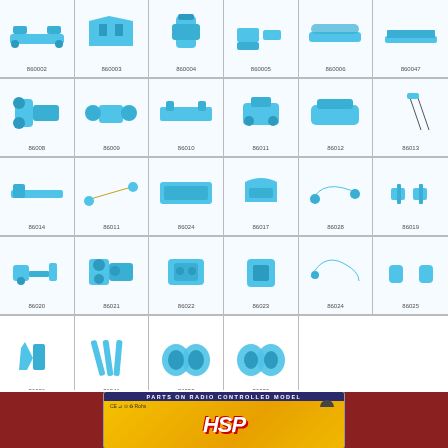[Figure (other): Grid catalog of blue anodized aluminum RC car parts (upgrade parts), 6 columns x 5 rows. Each cell shows a blue metal part photo with a part code below. Part codes: 860002, 860003, 860004, 860005, 860006, 860047, 86008, 86009, 86010, 86011, 86012, 86013, 86014, 86011, 86024, 86017, 86028, 86019, 86020, 86021, 86022, 86023, 86024, 86025, 86026, 86041, 86050, 86200]
[Figure (photo): HSP branded RC parts packaging card with yellow/orange gradient background, dark blue header reading 'PARTS ON RADIO CONTROLLED MODEL', HSP logo in large italic white letters, certification icons, on a red/brown background]